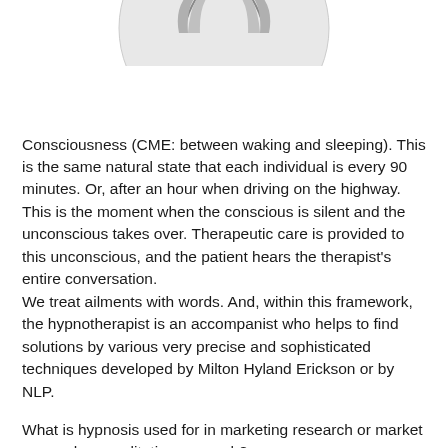[Figure (illustration): Partial circular illustration showing what appears to be hands or a figure, rendered in grayscale, cropped at the top of the page — only the lower portion of a circular image is visible.]
Consciousness (CME: between waking and sleeping). This is the same natural state that each individual is every 90 minutes. Or, after an hour when driving on the highway. This is the moment when the conscious is silent and the unconscious takes over. Therapeutic care is provided to this unconscious, and the patient hears the therapist's entire conversation.
We treat ailments with words. And, within this framework, the hypnotherapist is an accompanist who helps to find solutions by various very precise and sophisticated techniques developed by Milton Hyland Erickson or by NLP.
What is hypnosis used for in marketing research or market research or qualitative research?